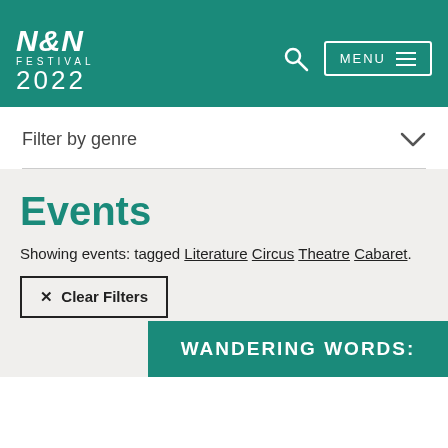[Figure (logo): N&N Festival 2022 logo in white on teal background]
Filter by genre
Events
Showing events: tagged Literature Circus Theatre Cabaret.
✕  Clear Filters
WANDERING WORDS: